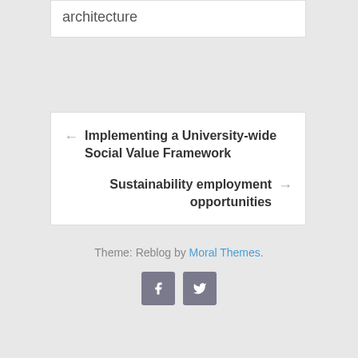architecture
← Implementing a University-wide Social Value Framework
Sustainability employment opportunities →
Theme: Reblog by Moral Themes.